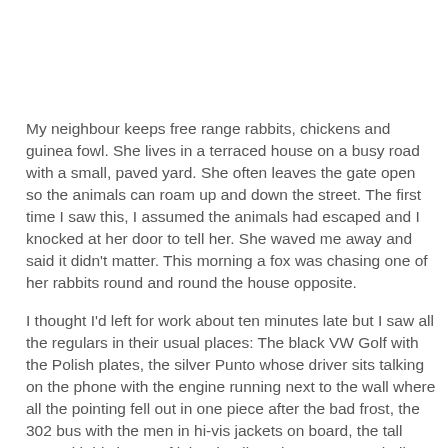My neighbour keeps free range rabbits, chickens and guinea fowl. She lives in a terraced house on a busy road with a small, paved yard. She often leaves the gate open so the animals can roam up and down the street. The first time I saw this, I assumed the animals had escaped and I knocked at her door to tell her. She waved me away and said it didn't matter. This morning a fox was chasing one of her rabbits round and round the house opposite.
I thought I'd left for work about ten minutes late but I saw all the regulars in their usual places: The black VW Golf with the Polish plates, the silver Punto whose driver sits talking on the phone with the engine running next to the wall where all the pointing fell out in one piece after the bad frost, the 302 bus with the men in hi-vis jackets on board, the tall man with his brace of labradoodles who never says hello, the woman